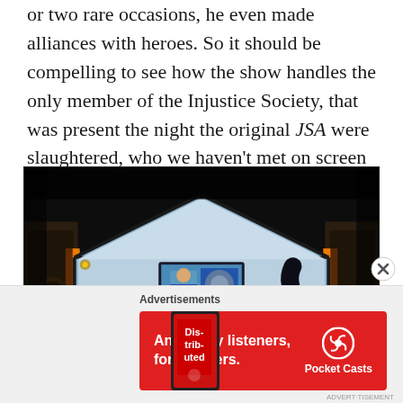or two rare occasions, he even made alliances with heroes. So it should be compelling to see how the show handles the only member of the Injustice Society, that was present the night the original JSA were slaughtered, who we haven't met on screen yet.
[Figure (photo): Dark cinematic scene showing two figures seated at a table from behind, facing a large geometric window. A TV screen in the background shows a news broadcast. The room has warm orange accent lighting on the sides.]
Advertisements
[Figure (other): Advertisement banner for Pocket Casts app with red background. Text reads 'An app by listeners, for listeners.' with Pocket Casts logo and a phone showing the 'Distributed' podcast cover.]